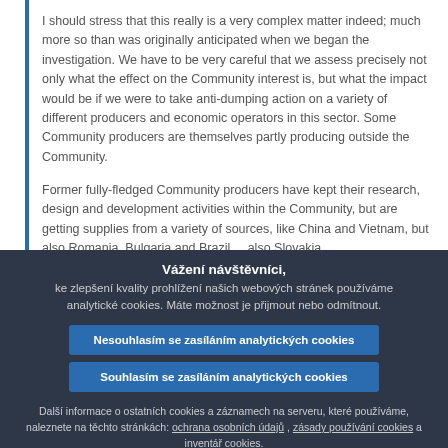I should stress that this really is a very complex matter indeed; much more so than was originally anticipated when we began the investigation. We have to be very careful that we assess precisely not only what the effect on the Community interest is, but what the impact would be if we were to take anti-dumping action on a variety of different producers and economic operators in this sector. Some Community producers are themselves partly producing outside the Community.
Former fully-fledged Community producers have kept their research, design and development activities within the Community, but are getting supplies from a variety of sources, like China and Vietnam, but also Romania, Bulgaria and Brazil ... also Slovakia...
Vážení návštěvníci, ke zlepšení kvality prohlížení našich webových stránek používáme analytické cookies. Máte možnost je přijmout nebo odmítnout.
Nesouhlasím se zasíláním analytických cookies
Souhlasím se zasíláním analytických cookies
Další informace o ostatních cookies a záznamech na serveru, které používáme, naleznete na těchto stránkách: ochrana osobních údajů , zásady používání cookies a inventář cookies.